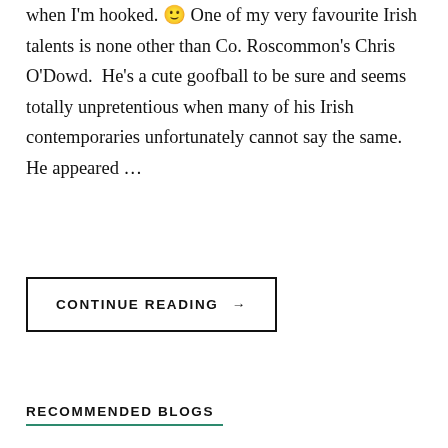when I'm hooked. 🙂 One of my very favourite Irish talents is none other than Co. Roscommon's Chris O'Dowd.  He's a cute goofball to be sure and seems totally unpretentious when many of his Irish contemporaries unfortunately cannot say the same.  He appeared …
CONTINUE READING →
RECOMMENDED BLOGS